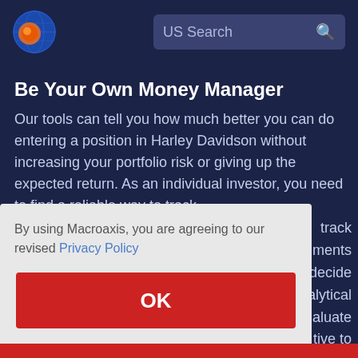[Figure (logo): Macroaxis globe logo with orange and blue colors]
US Search
Be Your Own Money Manager
Our tools can tell you how much better you can do entering a position in Harley Davidson without increasing your portfolio risk or giving up the expected return. As an individual investor, you need to find a reliable way to track ... ments ... decide ... alytical ... aluate ... tive to
By using Macroaxis, you are agreeing to our revised Privacy Policy
OK